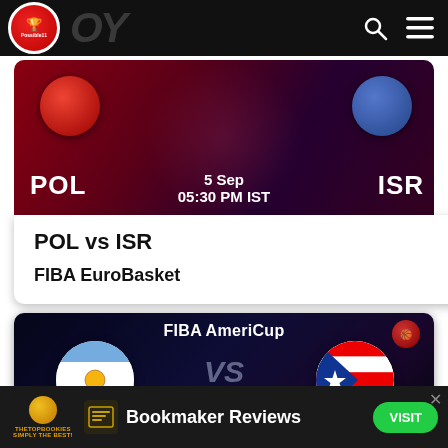Possible11 — navigation bar with logo, search, and menu icons
[Figure (screenshot): FIBA EuroBasket match card showing POL vs ISR on 5 Sep at 05:30 PM IST, dark red background with team badges]
POL vs ISR
FIBA EuroBasket
[Figure (screenshot): FIBA AmeriCup match card showing Argentina vs Puerto Rico, dark blue background with circular flag badges and VS text]
Bookmaker Reviews — VISIT (TheTopBookies ad banner)